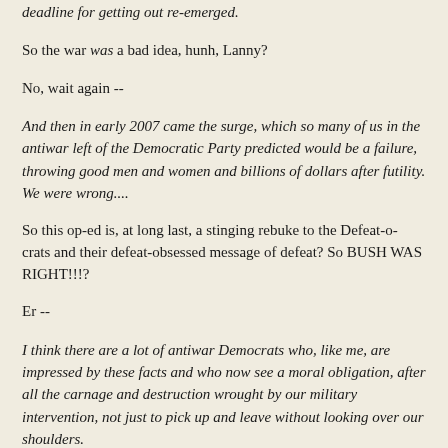deadline for getting out re-emerged.
So the war was a bad idea, hunh, Lanny?
No, wait again --
And then in early 2007 came the surge, which so many of us in the antiwar left of the Democratic Party predicted would be a failure, throwing good men and women and billions of dollars after futility. We were wrong....
So this op-ed is, at long last, a stinging rebuke to the Defeat-o-crats and their defeat-obsessed message of defeat? So BUSH WAS RIGHT!!!?
Er --
I think there are a lot of antiwar Democrats who, like me, are impressed by these facts and who now see a moral obligation, after all the carnage and destruction wrought by our military intervention, not just to pick up and leave without looking over our shoulders.